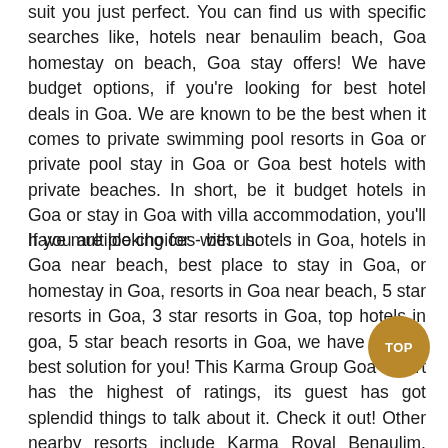suit you just perfect. You can find us with specific searches like, hotels near benaulim beach, Goa homestay on beach, Goa stay offers! We have budget options, if you're looking for best hotel deals in Goa. We are known to be the best when it comes to private swimming pool resorts in Goa or private pool stay in Goa or Goa best hotels with private beaches. In short, be it budget hotels in Goa or stay in Goa with villa accommodation, you'll have multiple choices with us.
If you are looking for - best hotels in Goa, hotels in Goa near beach, best place to stay in Goa, or homestay in Goa, resorts in Goa near beach, 5 star resorts in Goa, 3 star resorts in Goa, top hotels in goa, 5 star beach resorts in Goa, we have got the best solution for you! This Karma Group Goa resort has the highest of ratings, its guest has got splendid things to talk about it. Check it out! Other nearby resorts include Karma Royal Benaulim, Karma Haathi Mahal, Goa.
Karma is honoured to have earned the recognition of